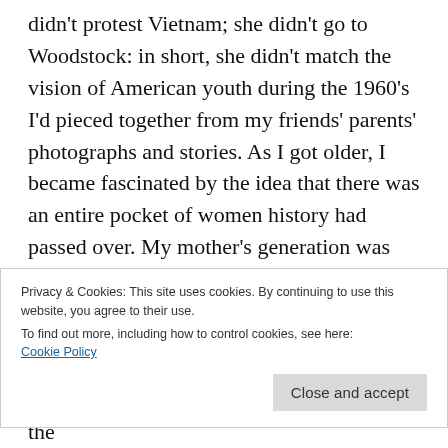didn't protest Vietnam; she didn't go to Woodstock: in short, she didn't match the vision of American youth during the 1960's I'd pieced together from my friends' parents' photographs and stories. As I got older, I became fascinated by the idea that there was an entire pocket of women history had passed over. My mother's generation was born late enough to glimpse opportunities for women beyond marriage and motherhood, but they
Privacy & Cookies: This site uses cookies. By continuing to use this website, you agree to their use.
To find out more, including how to control cookies, see here:
Cookie Policy
Steinem and Germaine Greer appeared on the